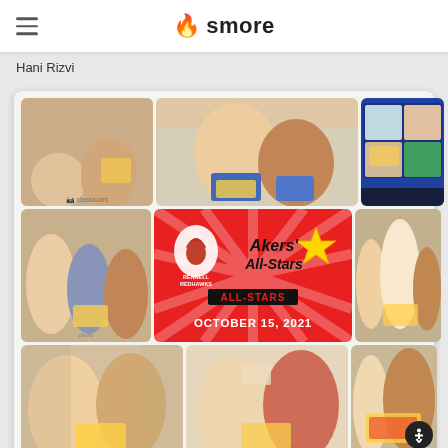smore
Hani Rizvi
[Figure (photo): Photo collage for Akers' All-Stars, Rennell Redhawks, October 15, 2021. Multiple photos of a teacher and students holding All-Stars certificates/golden tickets. Center banner reads 'Akers' ALL-STARS OCTOBER 15, 2021' with Rennell Redhawks logo. Photos include selfies with students, a video call screenshot, and group photos in a classroom setting.]